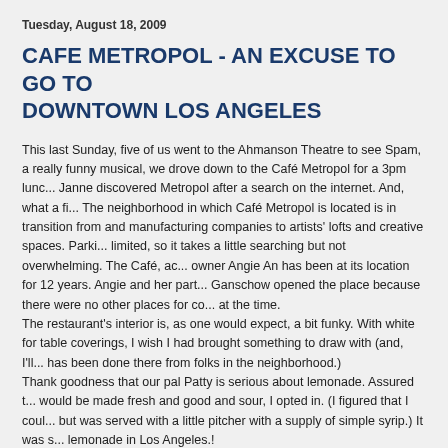Tuesday, August 18, 2009
CAFE METROPOL - AN EXCUSE TO GO TO DOWNTOWN LOS ANGELES
This last Sunday, five of us went to the Ahmanson Theatre to see Spam, a really funny musical, we drove down to the Café Metropol for a 3pm lunch. Janne discovered Metropol after a search on the internet. And, what a fi... The neighborhood in which Café Metropol is located is in transition from and manufacturing companies to artists' lofts and creative spaces. Parki... limited, so it takes a little searching but not overwhelming. The Café, ac... owner Angie An has been at its location for 12 years. Angie and her part... Ganschow opened the place because there were no other places for co... at the time.
The restaurant's interior is, as one would expect, a bit funky. With white for table coverings, I wish I had brought something to draw with (and, I'll... has been done there from folks in the neighborhood.)
Thank goodness that our pal Patty is serious about lemonade. Assured t... would be made fresh and good and sour, I opted in. (I figured that I coul... but was served with a little pitcher with a supply of simple syrup.) It was s... lemonade in Los Angeles.!
For our friend Dallas, there was a goat cheese pizza. I had a splendid c... served with French bread, butter, thin slices of red oinion and tomatoe a... (ok......... so, I just looked up cornichon - crisp, tart pickles made from tiny...